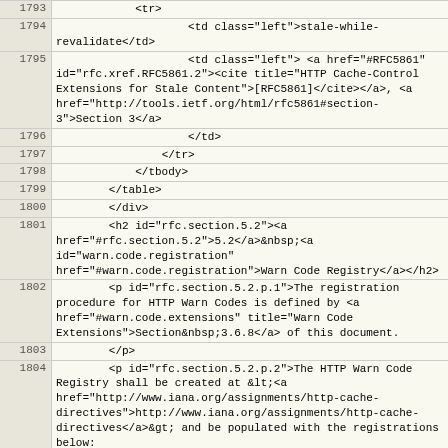| line | code |
| --- | --- |
| 1793 |             <tr> |
| 1794 |                     <td class="left">stale-while-revalidate</td> |
| 1795 |                     <td class="left"> <a href="#RFC5861" id="rfc.xref.RFC5861.2"><cite title="HTTP Cache-Control Extensions for Stale Content">[RFC5861]</cite></a>, <a href="http://tools.ietf.org/html/rfc5861#section-3">Section 3</a> |
| 1796 |                     </td> |
| 1797 |                 </tr> |
| 1798 |             </tbody> |
| 1799 |         </table> |
| 1800 |         </div> |
| 1801 |         <h2 id="rfc.section.5.2"><a href="#rfc.section.5.2">5.2</a>&nbsp;<a id="warn.code.registration" href="#warn.code.registration">Warn Code Registry</a></h2> |
| 1802 |         <p id="rfc.section.5.2.p.1">The registration procedure for HTTP Warn Codes is defined by <a href="#warn.code.extensions" title="Warn Code Extensions">Section&nbsp;3.6.8</a> of this document. |
| 1803 |         </p> |
| 1804 |         <p id="rfc.section.5.2.p.2">The HTTP Warn Code Registry shall be created at &lt;<a href="http://www.iana.org/assignments/http-cache-directives">http://www.iana.org/assignments/http-cache-directives</a>&gt; and be populated with the registrations below: |
| 1805 |         </p> |
| 1806 |         <div id="rfc.table.2"> |
| 1807 |             <div id="iana.warn.code.registration.table"></div> |
| 1808 |             <table class="tt full left" cellpadding="3" cellspacing="0"> |